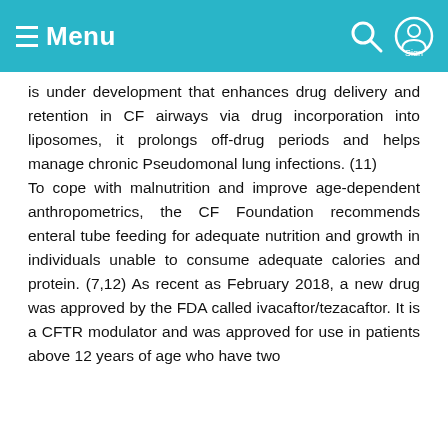≡ Menu
is under development that enhances drug delivery and retention in CF airways via drug incorporation into liposomes, it prolongs off-drug periods and helps manage chronic Pseudomonal lung infections. (11) To cope with malnutrition and improve age-dependent anthropometrics, the CF Foundation recommends enteral tube feeding for adequate nutrition and growth in individuals unable to consume adequate calories and protein. (7,12) As recent as February 2018, a new drug was approved by the FDA called ivacaftor/tezacaftor. It is a CFTR modulator and was approved for use in patients above 12 years of age who have two